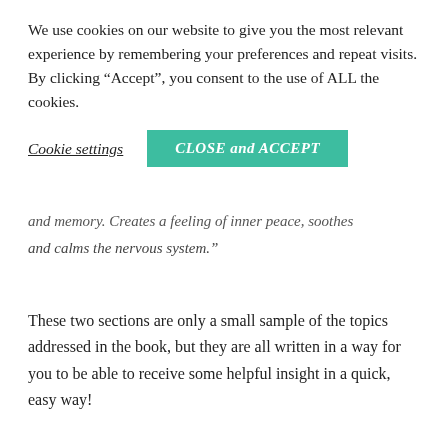We use cookies on our website to give you the most relevant experience by remembering your preferences and repeat visits. By clicking “Accept”, you consent to the use of ALL the cookies.
Cookie settings   CLOSE and ACCEPT
and memory. Creates a feeling of inner peace, soothes and calms the nervous system.”
These two sections are only a small sample of the topics addressed in the book, but they are all written in a way for you to be able to receive some helpful insight in a quick, easy way!